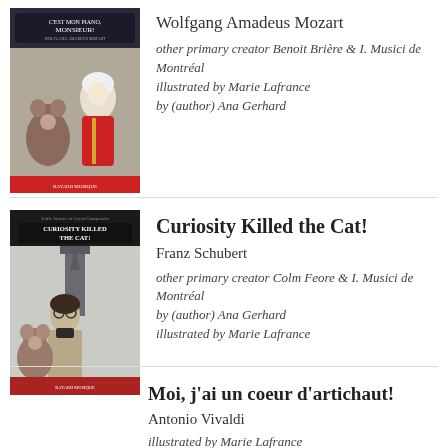[Figure (illustration): Book cover for 'C'est mon piano, Monsieur!' featuring illustrated characters including a mouse and a man in red coat, with text overlay]
Wolfgang Amadeus Mozart
other primary creator Benoit Brière & I. Musici de Montréal
illustrated by Marie Lafrance
by (author) Ana Gerhard
[Figure (illustration): Book cover for 'Curiosity Killed the Cat!' featuring an illustrated man with glasses and a mouse]
Curiosity Killed the Cat!
Franz Schubert
other primary creator Colm Feore & I. Musici de Montréal
by (author) Ana Gerhard
illustrated by Marie Lafrance
Moi, j'ai un coeur d'artichaut!
Antonio Vivaldi
illustrated by Marie Lafrance
by (author) Ana Gerhard